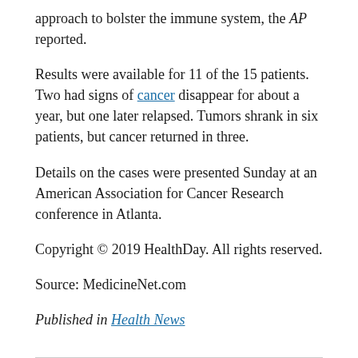approach to bolster the immune system, the AP reported.
Results were available for 11 of the 15 patients. Two had signs of cancer disappear for about a year, but one later relapsed. Tumors shrank in six patients, but cancer returned in three.
Details on the cases were presented Sunday at an American Association for Cancer Research conference in Atlanta.
Copyright © 2019 HealthDay. All rights reserved.
Source: MedicineNet.com
Published in Health News